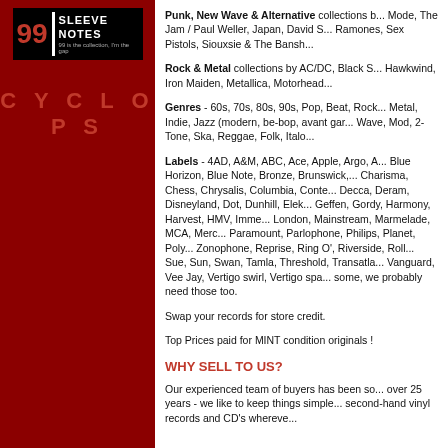[Figure (logo): 99 Sleeve Notes logo with red '99', white vertical bar, white 'SLEEVE NOTES' text on black background]
CYCLOPS
Punk, New Wave & Alternative collections b... Mode, The Jam / Paul Weller, Japan, David S... Ramones, Sex Pistols, Siouxsie & The Bansh...
Rock & Metal collections by AC/DC, Black S... Hawkwind, Iron Maiden, Metallica, Motorhead...
Genres - 60s, 70s, 80s, 90s, Pop, Beat, Rock... Metal, Indie, Jazz (modern, be-bop, avant gar... Wave, Mod, 2-Tone, Ska, Reggae, Folk, Italo...
Labels - 4AD, A&M, ABC, Ace, Apple, Argo, A... Blue Horizon, Blue Note, Bronze, Brunswick,... Charisma, Chess, Chrysalis, Columbia, Conte... Decca, Deram, Disneyland, Dot, Dunhill, Elek... Geffen, Gordy, Harmony, Harvest, HMV, Imme... London, Mainstream, Marmelade, MCA, Merc... Paramount, Parlophone, Philips, Planet, Poly... Zonophone, Reprise, Ring O', Riverside, Roll... Sue, Sun, Swan, Tamla, Threshold, Transatla... Vanguard, Vee Jay, Vertigo swirl, Vertigo spa... some, we probably need those too.
Swap your records for store credit.
Top Prices paid for MINT condition originals !
WHY SELL TO US?
Our experienced team of buyers has been so... over 25 years - we like to keep things simple... second-hand vinyl records and CD's whereve...